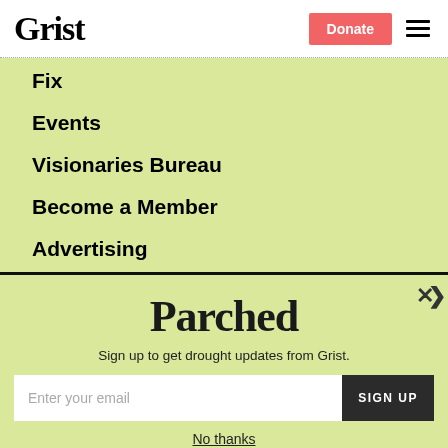Grist | Donate
Fix
Events
Visionaries Bureau
Become a Member
Advertising
Republish
Accessibility
Parched
Sign up to get drought updates from Grist.
Enter your email
SIGN UP
No thanks